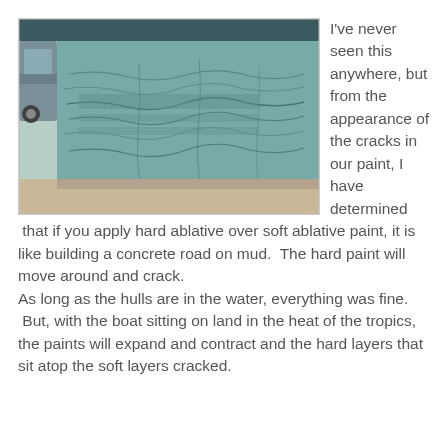[Figure (photo): Close-up photograph of a boat hull showing cracked paint. The hull is painted teal/blue-green with visible crack patterns across the surface. A car is visible in the background to the left, and the ground appears sandy/gravelly.]
I've never seen this anywhere, but from the appearance of the cracks in our paint, I have determined  that if you apply hard ablative over soft ablative paint, it is like building a concrete road on mud.  The hard paint will move around and crack.
As long as the hulls are in the water, everything was fine.  But, with the boat sitting on land in the heat of the tropics, the paints will expand and contract and the hard layers that sit atop the soft layers cracked.